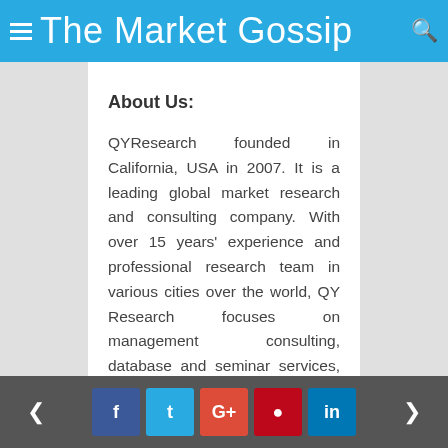The Market Gossip
About Us:
QYResearch founded in California, USA in 2007. It is a leading global market research and consulting company. With over 15 years' experience and professional research team in various cities over the world, QY Research focuses on management consulting, database and seminar services, IPO consulting, industry chain research and customized research to help our clients in providing non-linear revenue model and make them successful. We are globally recognized for our expansive portfolio of services, good corporate citizenship, and our
< f t G+ p in >